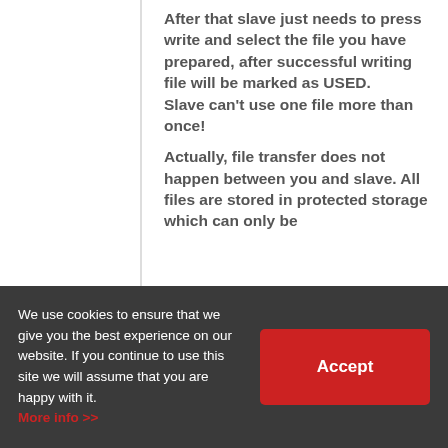After that slave just needs to press write and select the file you have prepared, after successful writing file will be marked as USED.
Slave can't use one file more than once!

Actually, file transfer does not happen between you and slave. All files are stored in protected storage which can only be
We use cookies to ensure that we give you the best experience on our website. If you continue to use this site we will assume that you are happy with it.
More info >>